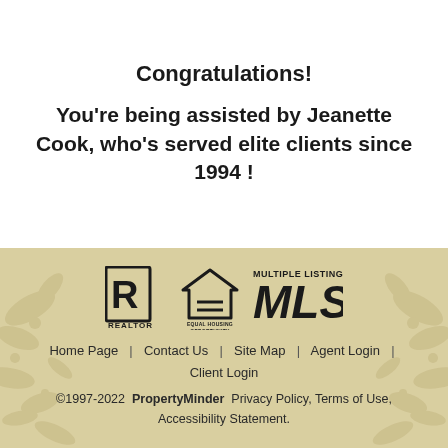Congratulations!
You're being assisted by Jeanette Cook, who's served elite clients since 1994 !
[Figure (logo): Three logos: REALTOR logo, Equal Housing Opportunity logo, and Multiple Listing Service MLS logo]
Home Page  |  Contact Us  |  Site Map  |  Agent Login  |  Client Login
©1997-2022  PropertyMinder  Privacy Policy, Terms of Use, Accessibility Statement.